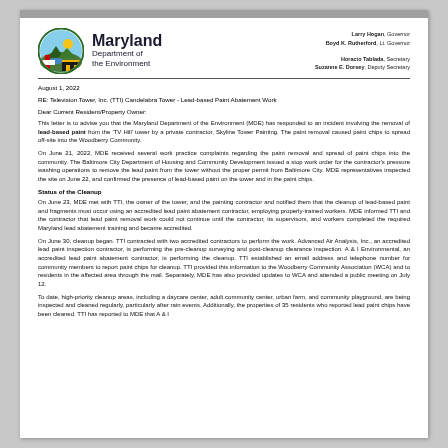[Figure (logo): Maryland Department of the Environment circular logo with landscape scene and Maryland flag colors]
Maryland Department of the Environment
Larry Hogan, Governor
Boyd K. Rutherford, Lt. Governor
Horacio Tablada, Secretary
Suzanne E. Dorsey, Deputy Secretary
August 1, 2022
RE: Television Tower, Inc. (TTI) Candelabra Tower - Lead-based Paint Abatement Work
Dear Current Resident/Property Owner:
This letter is to advise you that the Maryland Department of the Environment (MDE) has responded to an incident involving the removal of lead-based paint from the 'TV Hill' tower by a private contractor, Skyline Tower Painting. The paint removal caused paint chips to spread off-site into the Woodberry Community.
On June 21, 2022, MDE received several work practice complaints regarding the paint removal and spread of paint chips into the community. The Baltimore City Department of Housing and Community Development issued a stop work order for the contractor's pressure washing operations to remove the lead paint from the tower without the proper permit from Baltimore City. MDE representatives inspected the site on June 22, and confirmed the presence of lead-based paint on the tower and in the paint chips.
Status of the Cleanup
On June 23, MDE met with TTI, the owner of the tower, and the painting contractor and notified them that the cleanup of lead-based paint and fragments must occur using an accredited lead paint abatement contractor, employing properly-trained workers. MDE informed TTI and the contractor that lead paint removal work could not continue until the contractor, its supervisors, and workers completed the required Maryland lead abatement training and became accredited.
On June 30, cleanup began. TTI contracted with two accredited contractors to perform the work. Advanced Air Analysis, Inc., an accredited lead paint inspection contractor, is performing the pre-cleanup surveying and post-cleanup clearance inspection. A & I Environmental, an accredited lead paint abatement contractor, is performing the cleanup. TTI established an email address and telephone number for community members to report paint chips for cleanup. TTI provided this information to the Woodberry Community Association (WCA) and to residents in the affected area through the mail. Separately, MDE has also provided updates to WCA and attended a public meeting on July 12.
To date, high-priority cleanup areas, including a daycare center, adult community center, urban farm, and community playground, are being inspected and cleaned regularly, particularly after rain events. Additionally, the properties of 35 residents who reported lead paint chips have been cleaned. TTI has reported to MDE that A & I